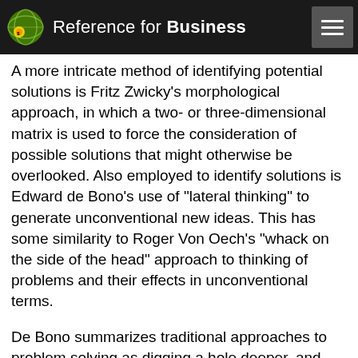Reference for Business
A more intricate method of identifying potential solutions is Fritz Zwicky's morphological approach, in which a two- or three-dimensional matrix is used to force the consideration of possible solutions that might otherwise be overlooked. Also employed to identify solutions is Edward de Bono's use of "lateral thinking" to generate unconventional new ideas. This has some similarity to Roger Von Oech's "whack on the side of the head" approach to thinking of problems and their effects in unconventional terms.
De Bono summarizes traditional approaches to problem solving as digging a hole deeper, and lateral thinking and related approaches as digging a hole elsewhere. In The Act of Creation, Arthur C. Koestler explained these approaches using the concept of "bisociation," which refers to the intersection of two incompatible but internally consistent frames of reference that can lead to a solution that would otherwise not be discovered. He showed how all of humor,